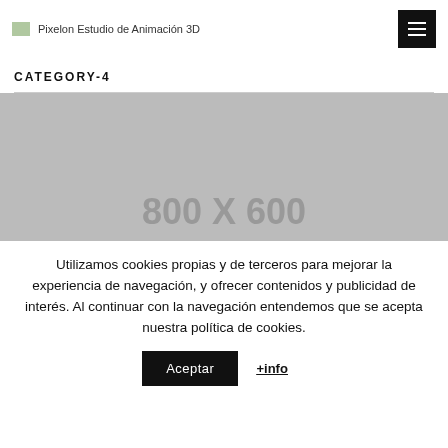Pixelon Estudio de Animación 3D
CATEGORY-4
[Figure (other): Gray placeholder image 800x600]
Utilizamos cookies propias y de terceros para mejorar la experiencia de navegación, y ofrecer contenidos y publicidad de interés. Al continuar con la navegación entendemos que se acepta nuestra política de cookies.
Aceptar  +info